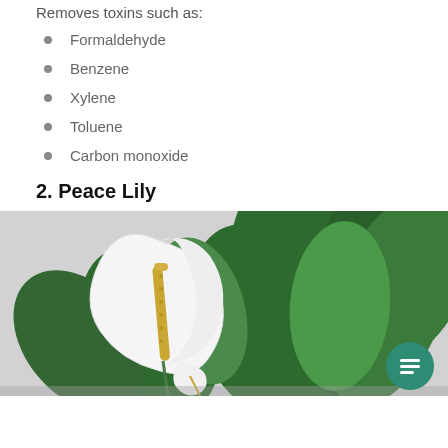Removes toxins such as:
Formaldehyde
Benzene
Xylene
Toluene
Carbon monoxide
2. Peace Lily
[Figure (photo): A peace lily plant with a white spathe flower and green leaves against a light grey background. A teal chat button is visible in the bottom right corner.]